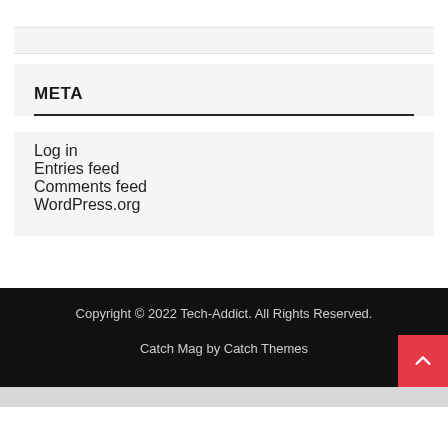META
Log in
Entries feed
Comments feed
WordPress.org
Copyright © 2022 Tech-Addict. All Rights Reserved.
Catch Mag by Catch Themes